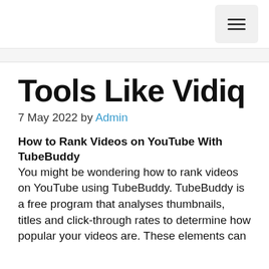Menu
Tools Like Vidiq
7 May 2022 by Admin
How to Rank Videos on YouTube With TubeBuddy
You might be wondering how to rank videos on YouTube using TubeBuddy. TubeBuddy is a free program that analyses thumbnails, titles and click-through rates to determine how popular your videos are. These elements can